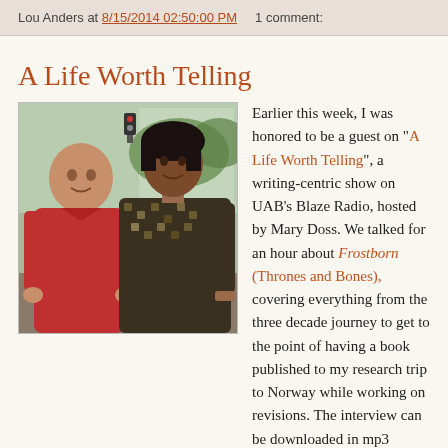Lou Anders at 8/15/2014 02:50:00 PM    1 comment:
A Life Worth Telling
[Figure (photo): Two people posing together indoors near a window. A bald man in a red polo shirt on the left, a woman with dark hair in a patterned sleeveless top on the right.]
Earlier this week, I was honored to be a guest on "A Life Worth Telling", a writing-centric show on UAB's Blaze Radio, hosted by Mary Doss. We talked for an hour about Frostborn (Thrones and Bones), covering everything from the three decade journey to get to the point of having a book published to my research trip to Norway while working on revisions. The interview can be downloaded in mp3 format here for